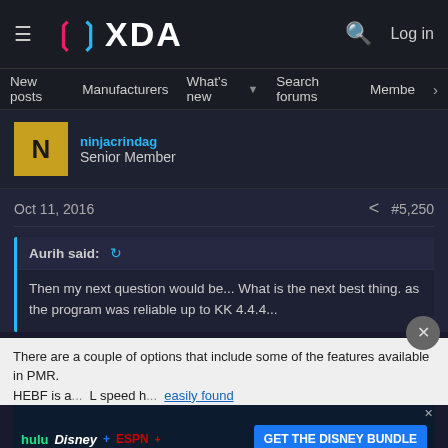XDA Forums — Navigation bar with hamburger menu, XDA logo, search icon, Log in
New posts  Manufacturers  What's new  Search forums  Members  >
Senior Member
Oct 11, 2016    #5,250
Aurih said:  Then my next question would be... What is the next best thing. as the program was reliable up to KK 4.4.4...
There are a couple of options that include some of the features available in PMR. HEBF is a... L speed h... easily found in the play store.
[Figure (screenshot): Disney Bundle advertisement banner showing Hulu, Disney+, ESPN+ logos with GET THE DISNEY BUNDLE call to action]
Acrobile also found in PMR has a more complete list of options that can be...